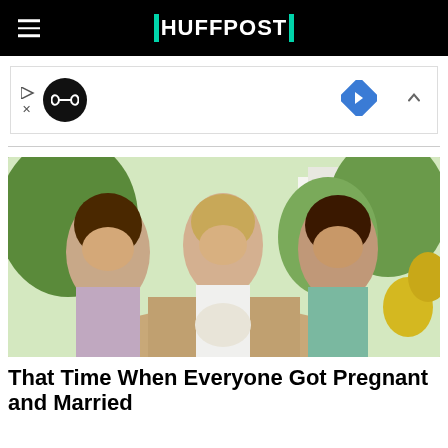HUFFPOST
[Figure (screenshot): Ad banner with black circle icon containing infinity-loop symbol, blue diamond navigation arrow icon, and chevron close button]
[Figure (photo): Three smiling women at a wedding outdoors. The center woman is the bride in a white halter dress holding a white bouquet. The woman on the left wears a light purple dress, the woman on the right wears a blue-green dress. They pose together on a garden path with greenery and a white house in the background.]
That Time When Everyone Got Pregnant and Married